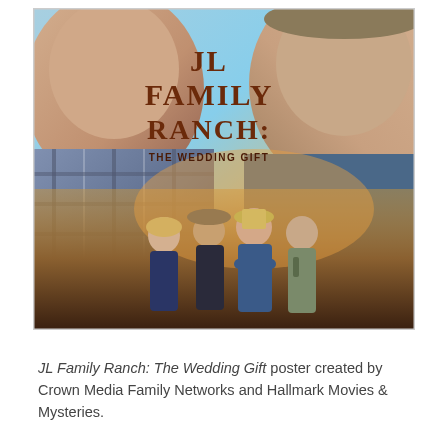[Figure (photo): Movie poster for 'JL Family Ranch: The Wedding Gift'. Shows two large older male faces in the background (left and right), with four cast members in the foreground — a blonde woman on left, a man in cowboy hat, a woman in blue shirt with arms crossed (center), and a man in uniform on right. Sky background with golden sunset tones. Title text reads 'JL FAMILY RANCH: THE WEDDING GIFT' in large brown lettering.]
JL Family Ranch: The Wedding Gift poster created by Crown Media Family Networks and Hallmark Movies & Mysteries.